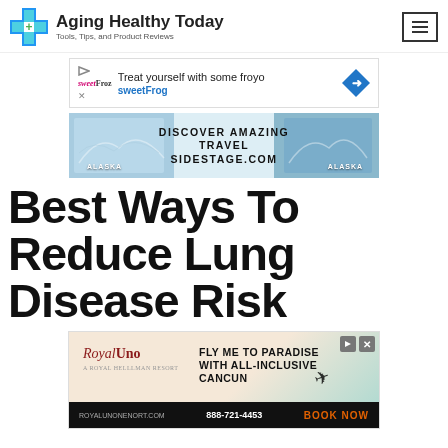Aging Healthy Today — Tools, Tips, and Product Reviews
[Figure (infographic): SweetFrog froyo advertisement banner: 'Treat yourself with some froyo' with sweetFrog logo and blue diamond arrow icon]
[Figure (infographic): Alaska travel advertisement: 'DISCOVER AMAZING TRAVEL SIDESTAGE.COM' with glacier background images and ALASKA text overlays]
Best Ways To Reduce Lung Disease Risk
[Figure (infographic): Royal Uno resort advertisement: 'FLY ME TO PARADISE WITH ALL-INCLUSIVE CANCUN' with booking info and phone number 888-721-4453]